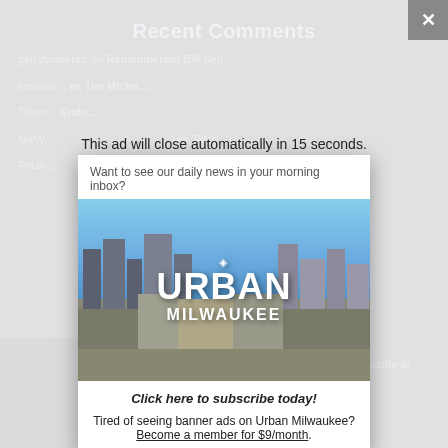Recent Comments
gerrybroderick on Remembering Bill Sell
tornado… es Tim Miche…
Thom… Endo…
NieW… For 'Pitch…
Polan… Office…
This ad will close automatically in 15 seconds.
Want to see our daily news in your morning inbox?
[Figure (logo): Urban Milwaukee logo overlaid on a cityscape photo showing buildings and sky]
Click here to subscribe today!
Tired of seeing banner ads on Urban Milwaukee? Become a member for $9/month.
Marquette University Dean Phoning Faculty in Residence Program in Fall 2022
[Figure (photo): Small photo of a woman at the bottom left corner of the page]
× (close button)